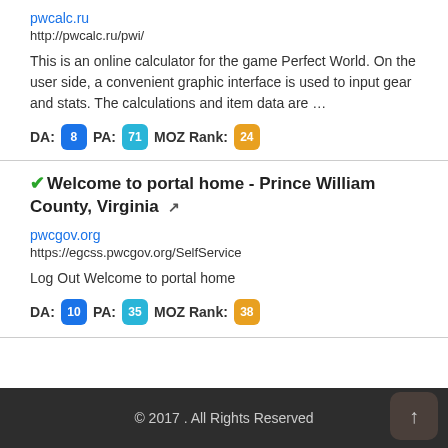pwcalc.ru
http://pwcalc.ru/pwi/
This is an online calculator for the game Perfect World. On the user side, a convenient graphic interface is used to input gear and stats. The calculations and item data are …
DA: 8  PA: 71  MOZ Rank: 24
Welcome to portal home - Prince William County, Virginia
pwcgov.org
https://egcss.pwcgov.org/SelfService
Log Out Welcome to portal home
DA: 10  PA: 35  MOZ Rank: 38
© 2017 . All Rights Reserved